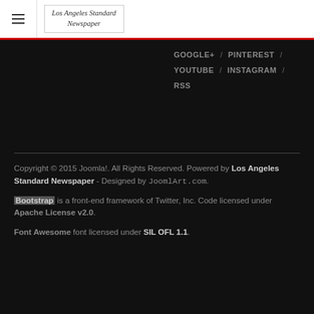Los Angeles Standard Newspaper
GOOGLE+ / PINTEREST / YOUTUBE / INSTAGRAM / RSS
Copyright © 2015 Joomla!. All Rights Reserved. Powered by Los Angeles Standard Newspaper - Designed by JoomlArt.com.
Bootstrap is a front-end framework of Twitter, Inc. Code licensed under Apache License v2.0.
Font Awesome font licensed under SIL OFL 1.1.